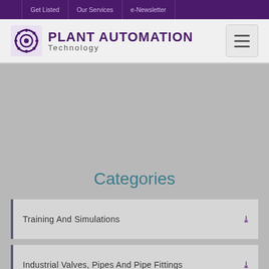Get Listed | Our Services | e-Newsletter
[Figure (logo): Plant Automation Technology logo with gear icon]
Categories
Training And Simulations
Industrial Valves, Pipes And Pipe Fittings